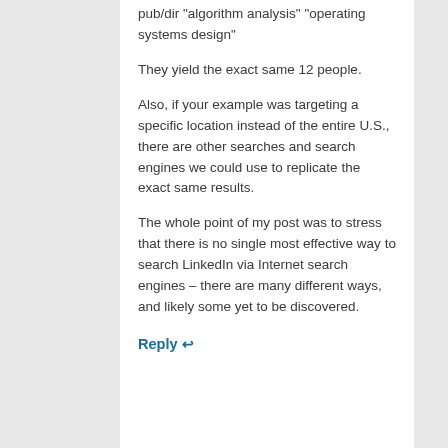pub/dir "algorithm analysis" "operating systems design"
They yield the exact same 12 people.
Also, if your example was targeting a specific location instead of the entire U.S., there are other searches and search engines we could use to replicate the exact same results.
The whole point of my post was to stress that there is no single most effective way to search LinkedIn via Internet search engines – there are many different ways, and likely some yet to be discovered.
Reply ↩